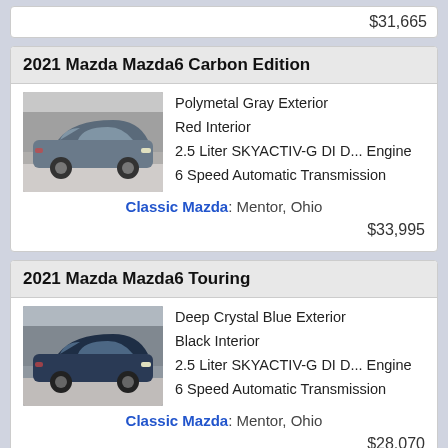$31,665
2021 Mazda Mazda6 Carbon Edition
[Figure (photo): Gray 2021 Mazda Mazda6 Carbon Edition parked in front of dealership]
Polymetal Gray Exterior
Red Interior
2.5 Liter SKYACTIV-G DI D... Engine
6 Speed Automatic Transmission
Classic Mazda: Mentor, Ohio
$33,995
2021 Mazda Mazda6 Touring
[Figure (photo): Dark blue 2021 Mazda Mazda6 Touring parked in front of dealership]
Deep Crystal Blue Exterior
Black Interior
2.5 Liter SKYACTIV-G DI D... Engine
6 Speed Automatic Transmission
Classic Mazda: Mentor, Ohio
$28,070